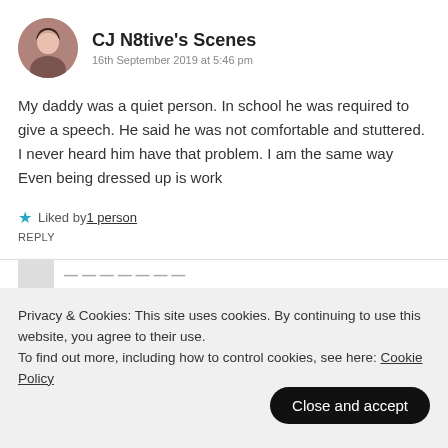CJ N8tive's Scenes
16th September 2019 at 5:46 pm
My daddy was a quiet person. In school he was required to give a speech. He said he was not comfortable and stuttered. I never heard him have that problem. I am the same way
Even being dressed up is work
★ Liked by 1 person
REPLY
Privacy & Cookies: This site uses cookies. By continuing to use this website, you agree to their use.
To find out more, including how to control cookies, see here: Cookie Policy
Close and accept